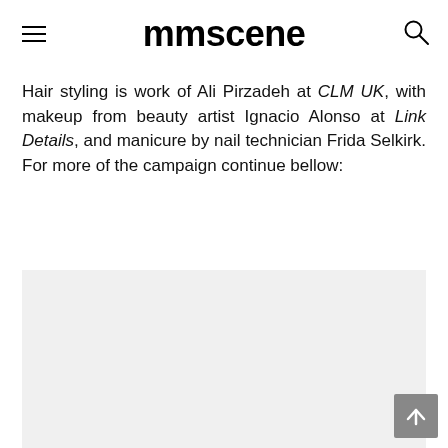mmscene
Hair styling is work of Ali Pirzadeh at CLM UK, with makeup from beauty artist Ignacio Alonso at Link Details, and manicure by nail technician Frida Selkirk. For more of the campaign continue bellow:
[Figure (photo): Partially visible campaign photo below the text block]